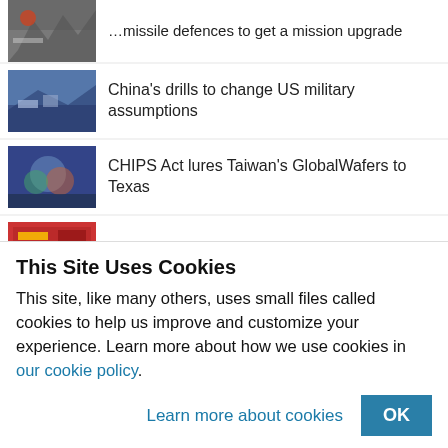China's drills to change US military assumptions
CHIPS Act lures Taiwan's GlobalWafers to Texas
China's crisis could set its bond markets free
Tokyo Electron sees rising risk in US chip war on China
Crimea sabotage signals Ukraine shift to guerrilla war
This Site Uses Cookies
This site, like many others, uses small files called cookies to help us improve and customize your experience. Learn more about how we use cookies in our cookie policy.
Learn more about cookies   OK